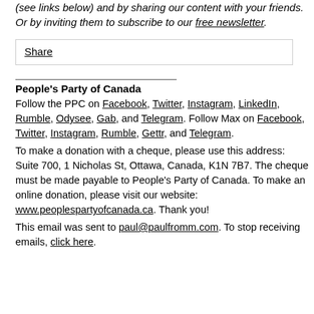(see links below) and by sharing our content with your friends. Or by inviting them to subscribe to our free newsletter.
Share
People's Party of Canada
Follow the PPC on Facebook, Twitter, Instagram, LinkedIn, Rumble, Odysee, Gab, and Telegram. Follow Max on Facebook, Twitter, Instagram, Rumble, Gettr, and Telegram.
To make a donation with a cheque, please use this address: Suite 700, 1 Nicholas St, Ottawa, Canada, K1N 7B7. The cheque must be made payable to People's Party of Canada. To make an online donation, please visit our website: www.peoplespartyofcanada.ca. Thank you!
This email was sent to paul@paulfromm.com. To stop receiving emails, click here.